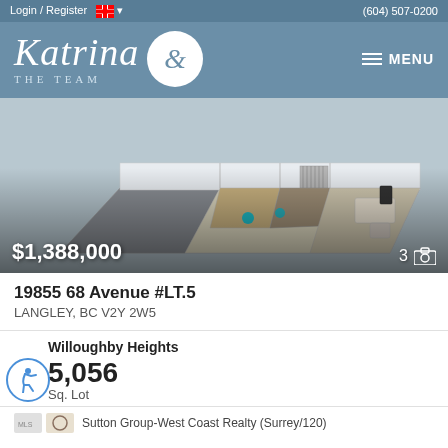Login / Register  (604) 507-0200
[Figure (logo): Katrina & The Team real estate logo with circular ampersand emblem on slate blue header]
[Figure (photo): 3D floor plan rendering of a residential property showing rooms, furniture and layout from above]
$1,388,000
3 [camera icon]
19855 68 Avenue #LT.5
LANGLEY, BC V2Y 2W5
Willoughby Heights
5,056
Sq. Lot
Sutton Group-West Coast Realty (Surrey/120)